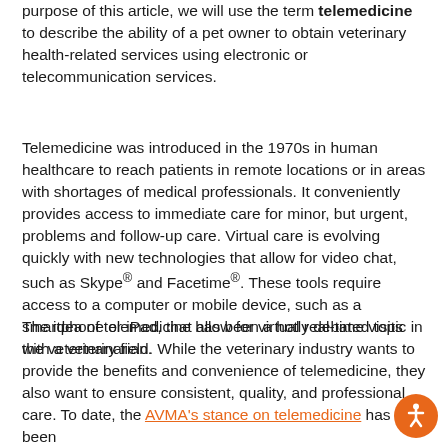purpose of this article, we will use the term telemedicine to describe the ability of a pet owner to obtain veterinary health-related services using electronic or telecommunication services.
Telemedicine was introduced in the 1970s in human healthcare to reach patients in remote locations or in areas with shortages of medical professionals. It conveniently provides access to immediate care for minor, but urgent, problems and follow-up care. Virtual care is evolving quickly with new technologies that allow for video chat, such as Skype® and Facetime®. These tools require access to a computer or mobile device, such as a smartphone or iPad, that allow for virtual real-time visits with a veterinarian.
The idea of telemedicine has been a hotly debated topic in the veterinary field. While the veterinary industry wants to provide the benefits and convenience of telemedicine, they also want to ensure consistent, quality, and professional care. To date, the AVMA's stance on telemedicine has been